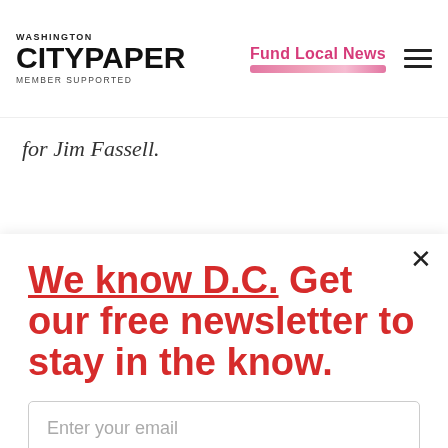Washington City Paper - Member Supported | Fund Local News
for Jim Fassell.
We know D.C. Get our free newsletter to stay in the know.
Enter your email
Sign Up
Unsubscribe any time.